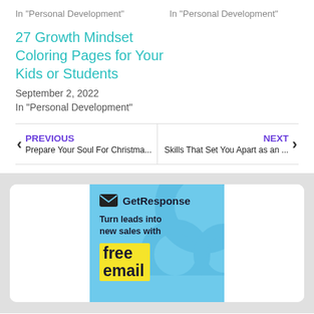In "Personal Development"    In "Personal Development"
27 Growth Mindset Coloring Pages for Your Kids or Students
September 2, 2022
In "Personal Development"
◄ PREVIOUS  Prepare Your Soul For Christma...   NEXT ►  Skills That Set You Apart as an ...
[Figure (screenshot): GetResponse advertisement banner with light blue background showing logo, tagline 'Turn leads into new sales with' and yellow highlight text 'free email']